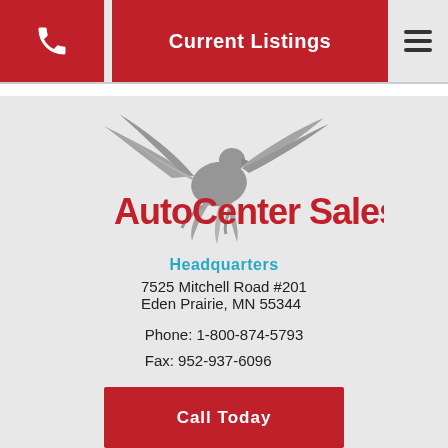Current Listings
[Figure (logo): AutoCenter Sales logo with eagle graphic and red bold text reading 'AutoCenter Sales']
Headquarters
7525 Mitchell Road #201
Eden Prairie, MN 55344

Phone: 1-800-874-5793
Fax: 952-937-6096
Call Today